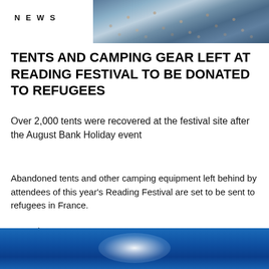NEWS
[Figure (photo): Aerial view of a large crowd of festival attendees]
TENTS AND CAMPING GEAR LEFT AT READING FESTIVAL TO BE DONATED TO REFUGEES
Over 2,000 tents were recovered at the festival site after the August Bank Holiday event
Abandoned tents and other camping equipment left behind by attendees of this year’s Reading Festival are set to be sent to refugees in France.
Around...
[Figure (photo): Blue sky with bright sun glare and a vertical pole or structure on the left]